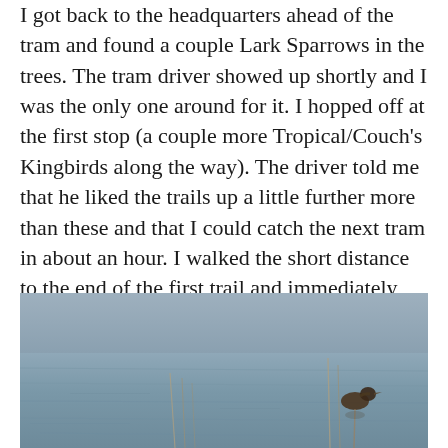I got back to the headquarters ahead of the tram and found a couple Lark Sparrows in the trees. The tram driver showed up shortly and I was the only one around for it. I hopped off at the first stop (a couple more Tropical/Couch's Kingbirds along the way). The driver told me that he liked the trails up a little further more than these and that I could catch the next tram in about an hour. I walked the short distance to the end of the first trail and immediately had a Myiarchus fly across the water. Unfortunately it disappeared quickly and I have no idea which one it was. The water was loaded with Least Grebes and when I turned around to go elsewhere a Wilson's Warbler popped up.
[Figure (photo): A bird (likely a grebe or similar waterbird) on a calm grey-blue water surface with reeds/sticks visible. The bird is positioned in the right-center of the image.]